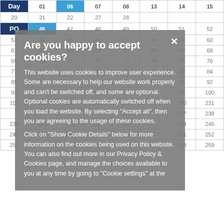| Day | 01 | 06 | 07 | 08 | 13 | 14 | 15 |
| --- | --- | --- | --- | --- | --- | --- | --- |
| 20 | 21 | 22 | 27 | 28 |  |  |  |
| PQ | 46 | 47 | 48 | 49 | 50 | 51 | 52 |
| 53 | 54 | 55 | 56 | 57 | 58 | 59 | 60 |
| 61 | 62 | 63 | 64 | 65 | 66 | 67 | 68 |
| 69 | 70 | 71 | 72 | 73 | 74 | 75 | 76 |
| 77 | 78 | 79 | 80 | 81 | 82 | 83 | 84 |
| 85 | 86 | 87 | 88 | 89 | 90 | 91 | 92 |
| 93 | 94 | 95 | 96 | 97 | 98 | 99 | 100 |
| 102 | 103 | 104 | 105 | 229 |  | 230 | 231 |
|  |  |  |  | 236 |  | 237 | 238 |
| 239 | 240 | 241 | 242 | 243 |  | 244 | 245 |
| 246 | 247 | 248 | 249 | 250 |  | 251 | 252 |
| 253 | 254 | 255 | 256 | 257 |  | 258 | 259 |
Are you happy to accept cookies? This website uses cookies to improve user experience. Some are necessary to help our website work properly and can't be switched off, and some are optional. Optional cookies are automatically switched off when you load the website. By selecting "Accept all", then you are agreeing to the usage of these cookies. Click on "Show Cookie Details" below for more information on the cookies being used on this website. You can also find out more in our Privacy Policy & Cookies page, and manage the choices available to you at any time by going to "Cookie settings" at the